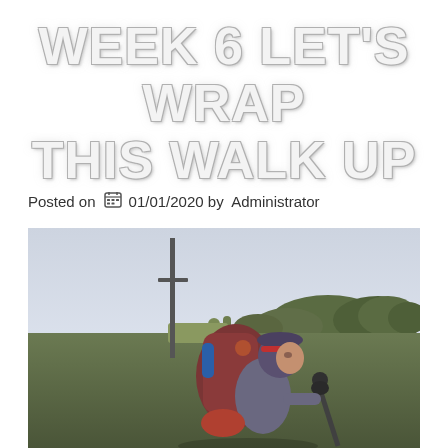WEEK 6 LET'S WRAP THIS WALK UP
Posted on  📅 01/01/2020 by  Administrator
[Figure (photo): A hiker with a large backpack and trekking pole, wearing a purple hat with a red headlamp, smiling while walking through an open field at dusk or dawn. Trees and a utility pole are visible in the background under a pale sky.]